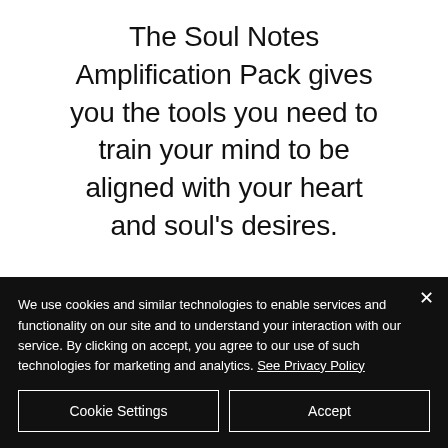The Soul Notes Amplification Pack gives you the tools you need to train your mind to be aligned with your heart and soul's desires.
These are resources that you can use over and over again to manifest all of
We use cookies and similar technologies to enable services and functionality on our site and to understand your interaction with our service. By clicking on accept, you agree to our use of such technologies for marketing and analytics. See Privacy Policy
Cookie Settings
Accept